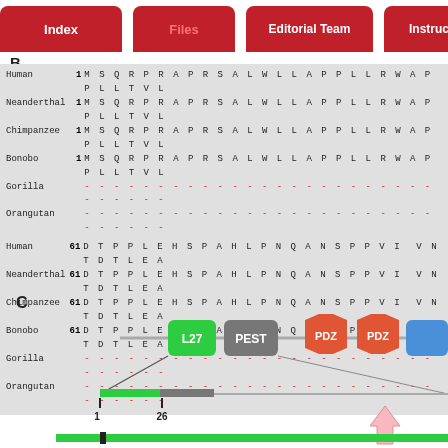Index | Files | Editorial Team | Instruction
B
[Figure (other): Multiple sequence alignment showing protein sequences for Human, Neanderthal, Chimpanzee, Bonobo, Gorilla, and Orangutan. Two blocks shown: positions 1 and 61. Human/Neanderthal/Chimpanzee/Bonobo share identical sequences; Gorilla and Orangutan show dashes (gaps).]
C
[Figure (schematic): Protein domain diagram showing L27 (green), PEST (gray), PDZ (orange/red octagon), PDZ (orange/red octagon) domains arranged linearly. Below is a zoomed-in region diagram with position markers 1 and 26, a pink arrow indicating a region of interest.]